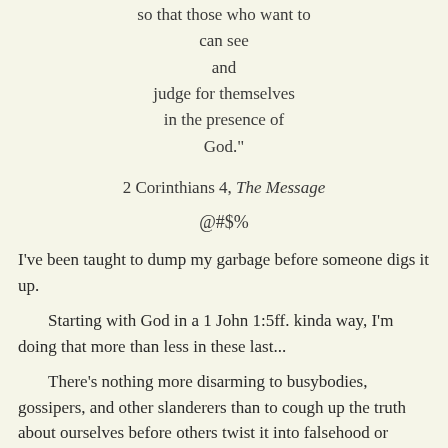so that those who want to
can see
and
judge for themselves
in the presence of
God."
2 Corinthians 4, The Message
@#$%
I've been taught to dump my garbage before someone digs it up.
Starting with God in a 1 John 1:5ff. kinda way, I'm doing that more than less in these last...
There's nothing more disarming to busybodies, gossipers, and other slanderers than to cough up the truth about ourselves before others twist it into falsehood or ammunition to...
For example, everybody knows or, uh, anybody who grew up around the 60s knows President Clinton was lying about not inhaling weed...